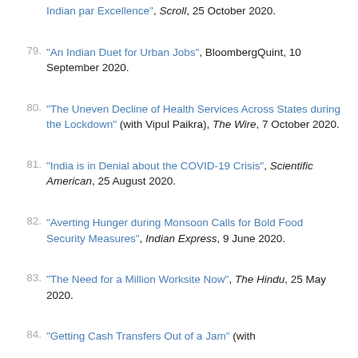Indian par Excellence", Scroll, 25 October 2020.
79. "An Indian Duet for Urban Jobs", BloombergQuint, 10 September 2020.
80. "The Uneven Decline of Health Services Across States during the Lockdown" (with Vipul Paikra), The Wire, 7 October 2020.
81. "India is in Denial about the COVID-19 Crisis", Scientific American, 25 August 2020.
82. "Averting Hunger during Monsoon Calls for Bold Food Security Measures", Indian Express, 9 June 2020.
83. "The Need for a Million Worksite Now", The Hindu, 25 May 2020.
84. "Getting Cash Transfers Out of a Jam" (with